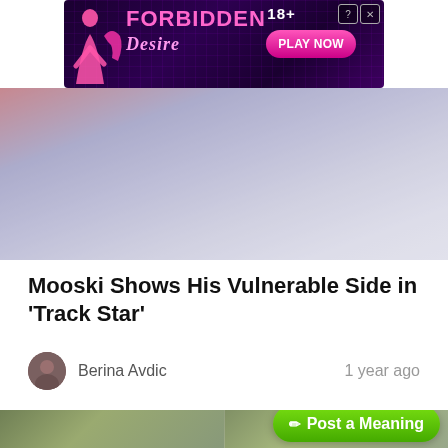[Figure (screenshot): Advertisement banner for 'Forbidden Desire 18+' with dark purple background, silhouettes, pink text and a 'PLAY NOW' button]
[Figure (photo): Top portion of article image showing two people with chain jewelry and colorful clothing against a blurred background]
Mooski Shows His Vulnerable Side in 'Track Star'
Berina Avdic
1 year ago
[Figure (photo): Bottom article image showing two panels: left panel with a person in a hat outdoors, right panel with another person outdoors. A green 'Post a Meaning' button overlays the bottom right.]